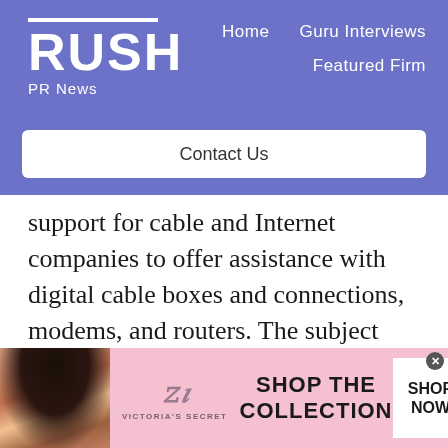[Figure (logo): RUSH PR News logo with white horizontal line above RUSH text in large bold white letters, and 'PR News' in smaller white text below, on purple/blue background]
Home   Guru Interviews   Featured Firm
Contact Us
support for cable and Internet companies to offer assistance with digital cable boxes and connections, modems, and routers. The subject claims the company has received notifications of errors, viruses, or security issues from the victim’s internet connection. Subjects are
[Figure (photo): Victoria's Secret advertisement banner with a model photograph on left, Victoria's Secret logo/symbol, 'SHOP THE COLLECTION' text in bold, and 'SHOP NOW' button on white background, pink banner background]